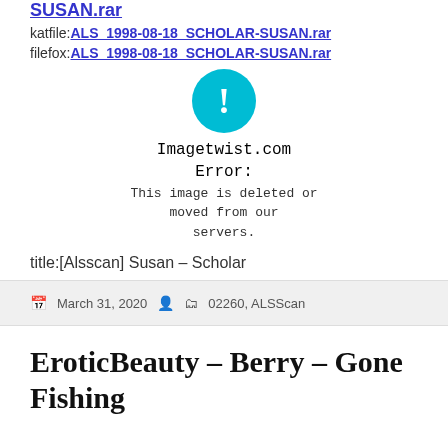SUSAN.rar
katfile:ALS_1998-08-18_SCHOLAR-SUSAN.rar
filefox:ALS_1998-08-18_SCHOLAR-SUSAN.rar
[Figure (screenshot): Error placeholder image from Imagetwist.com showing a cyan circle with exclamation mark and text: 'Imagetwist.com Error: This image is deleted or moved from our servers.']
title:[Alsscan] Susan – Scholar
March 31, 2020   02260, ALSScan
EroticBeauty – Berry – Gone Fishing